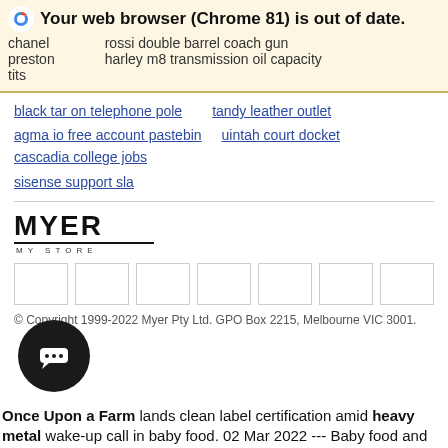Your web browser (Chrome 81) is out of date. chanel preston tits   rossi double barrel coach gun   harley m8 transmission oil capacity
black tar on telephone pole
tandy leather outlet
agma io free account pastebin
uintah court docket
cascadia college jobs
sisense support sla
[Figure (logo): MYER MY STORE logo with bold uppercase text and a horizontal bar underneath]
[Figure (other): Navigation menu boxes — 7 empty rectangular nav item boxes]
© Copyright 1999-2022 Myer Pty Ltd. GPO Box 2215, Melbourne VIC 3001.
[Figure (other): Chat bubble button with three dots icon]
Once Upon a Farm lands clean label certification amid heavy metal wake-up call in baby food. 02 Mar 2022 --- Baby food and